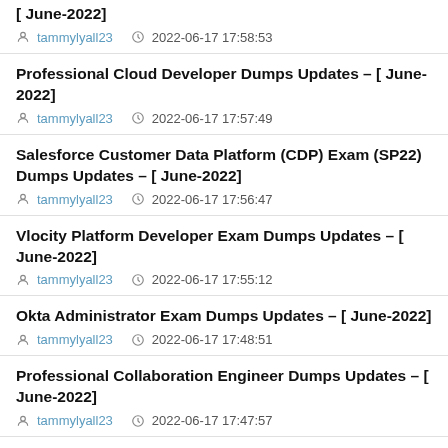[ June-2022]
tammylyall23   2022-06-17 17:58:53
Professional Cloud Developer Dumps Updates – [ June-2022]
tammylyall23   2022-06-17 17:57:49
Salesforce Customer Data Platform (CDP) Exam (SP22) Dumps Updates – [ June-2022]
tammylyall23   2022-06-17 17:56:47
Vlocity Platform Developer Exam Dumps Updates – [ June-2022]
tammylyall23   2022-06-17 17:55:12
Okta Administrator Exam Dumps Updates – [ June-2022]
tammylyall23   2022-06-17 17:48:51
Professional Collaboration Engineer Dumps Updates – [ June-2022]
tammylyall23   2022-06-17 17:47:57
Databricks Certified Associate Developer for Apache Sp